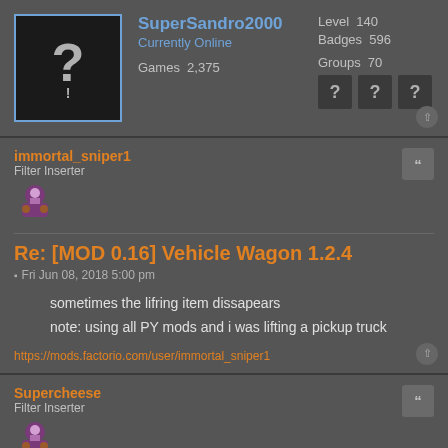[Figure (screenshot): Steam profile card for SuperSandro2000 showing avatar with question mark, level 140, badges 596, games 2375, groups 70 with three unknown group icons]
SuperSandro2000
Currently Online
Games  2,375
Level  140
Badges  596
Groups  70
immortal_sniper1
Filter Inserter
Re: [MOD 0.16] Vehicle Wagon 1.2.4
Fri Jun 08, 2018 5:00 pm
sometimes the lifring item dissapears
note: using all PY mods and i was lifting a pickup truck
https://mods.factorio.com/user/immortal_sniper1
Supercheese
Filter Inserter
Re: [MOD 0.16] Vehicle Wagon 1.2.4